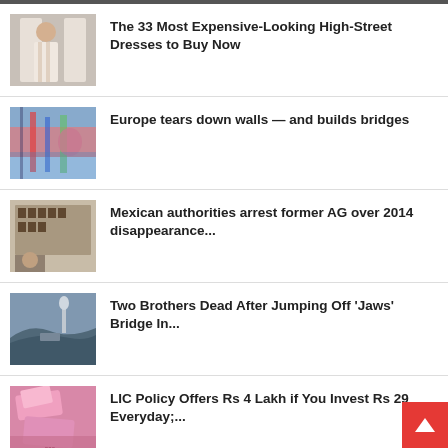The 33 Most Expensive-Looking High-Street Dresses to Buy Now
Europe tears down walls — and builds bridges
Mexican authorities arrest former AG over 2014 disappearance...
Two Brothers Dead After Jumping Off 'Jaws' Bridge In...
LIC Policy Offers Rs 4 Lakh if You Invest Rs 29 Everyday;...